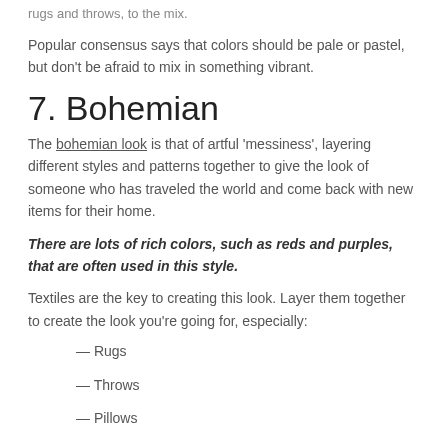rugs and throws, to the mix.
Popular consensus says that colors should be pale or pastel, but don’t be afraid to mix in something vibrant.
7. Bohemian
The bohemian look is that of artful ‘messiness’, layering different styles and patterns together to give the look of someone who has traveled the world and come back with new items for their home.
There are lots of rich colors, such as reds and purples, that are often used in this style.
Textiles are the key to creating this look. Layer them together to create the look you’re going for, especially:
— Rugs
— Throws
— Pillows